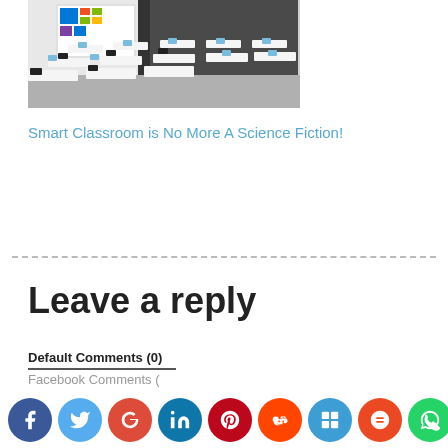[Figure (photo): A smart classroom with rows of desks equipped with tablets, a Windows 8 interactive whiteboard display at the front, and black chairs, in a modern gray-walled room.]
Smart Classroom is No More A Science Fiction!
Leave a reply
Default Comments (0)
Facebook Comments (